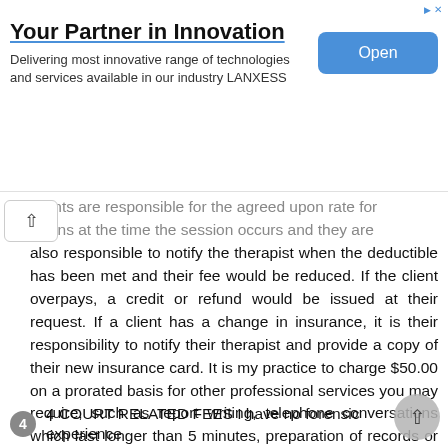[Figure (other): Advertisement banner: 'Your Partner in Innovation' with subtitle 'Delivering most innovative range of technologies and services available in our industry LANXESS' and an 'Open' button]
clients are responsible for the agreed upon rate for sessions at the time the session occurs and they are also responsible to notify the therapist when the deductible has been met and their fee would be reduced. If the client overpays, a credit or refund would be issued at their request. If a client has a change in insurance, it is their responsibility to notify their therapist and provide a copy of their new insurance card. It is my practice to charge $50.00 on a prorated basis for other professional services you may require, such as report writing, telephone conversations which last longer than 5 minutes, preparation of records or treatment summaries, or the time required to perform any other service which you may request of me. A minimum fee of $50.00 is charged for copies or records or reports and minimum of two weeks notice is required.
4 4 COURT RELATED FEES I have no forensic experience